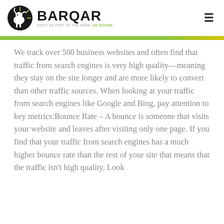BARQAR — DON'T BE PART OF THE HERD. GO BOUND.
We track over 500 business websites and often find that traffic from search engines is very high quality—meaning they stay on the site longer and are more likely to convert than other traffic sources. When looking at your traffic from search engines like Google and Bing, pay attention to key metrics:Bounce Rate – A bounce is someone that visits your website and leaves after visiting only one page. If you find that your traffic from search engines has a much higher bounce rate than the rest of your site that means that the traffic isn't high quality. Look